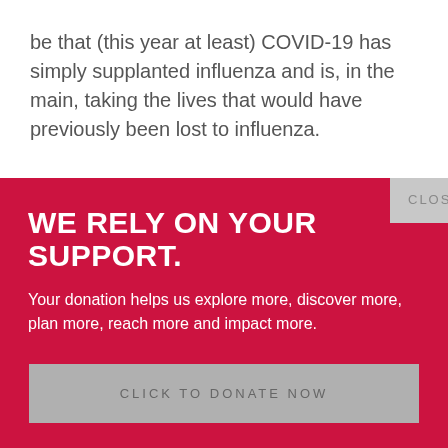be that (this year at least) COVID-19 has simply supplanted influenza and is, in the main, taking the lives that would have previously been lost to influenza.
CLOSE
WE RELY ON YOUR SUPPORT.
Your donation helps us explore more, discover more, plan more, reach more and impact more.
CLICK TO DONATE NOW